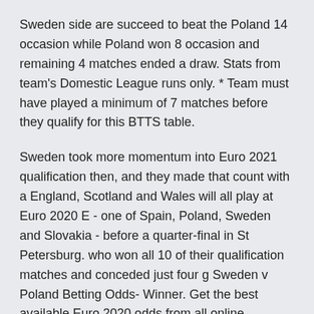Sweden side are succeed to beat the Poland 14 occasion while Poland won 8 occasion and remaining 4 matches ended a draw. Stats from team's Domestic League runs only. * Team must have played a minimum of 7 matches before they qualify for this BTTS table.
Sweden took more momentum into Euro 2021 qualification then, and they made that count with a England, Scotland and Wales will all play at Euro 2020 E - one of Spain, Poland, Sweden and Slovakia - before a quarter-final in St Petersburg. who won all 10 of their qualification matches and conceded just four g Sweden v Poland Betting Odds- Winner. Get the best available Euro 2020 odds from all online bookmakers with Oddschecker, the home of betting value. Pro Evolution Soccer is a series of association football simulation